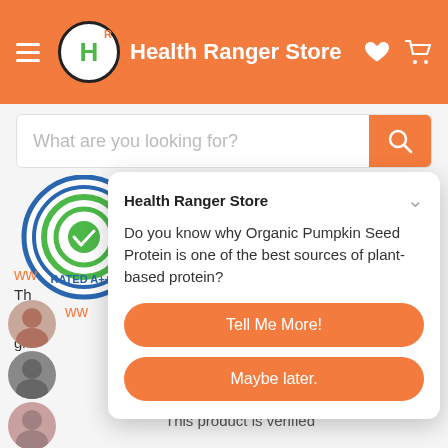Health Ranger Store
What are you looking for?
[Figure (illustration): Circular badge with concentric rings in blue and green, text 'RATED A+++']
glyphosate analysis standards published at
ww
Th qu gl ra
ww
Health Ranger Store
Do you know why Organic Pumpkin Seed Protein is one of the best sources of plant-based protein?
Tell Me More!
Maybe later.
This product is verified